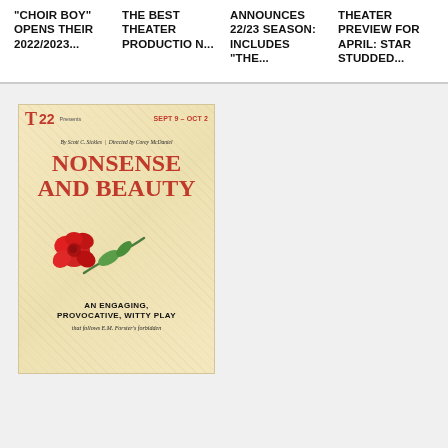"CHOIR BOY" OPENS THEIR 2022/2023...
TWELVE THE BEST THEATER PRODUCTION...
ANNOUNCES 22/23 SEASON: INCLUDES "THE...
THEATER PREVIEW FOR APRIL: STAR STUDDED...
[Figure (photo): Theater promotional poster for 'Nonsense and Beauty' by T22. Features a red rose illustration on a gold/cream diamond-patterned background. Text: T22 Presents, SEPT 9 - OCT 2, By Scott C. Sickles | Directed by Corey McDaniel, NONSENSE AND BEAUTY, AN ENGAGING, PROVOCATIVE, WITTY PLAY, that follows E.M. Forster's forbidden]